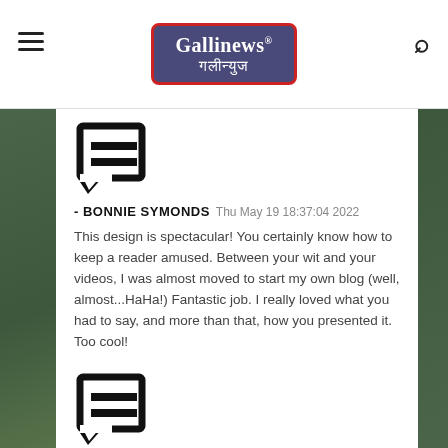Gallinews गलीन्युज
[Figure (illustration): Comment/chat bubble icon with two horizontal lines inside, black and white]
- BONNIE SYMONDS    Thu May 19 18:37:04 2022
This design is spectacular! You certainly know how to keep a reader amused. Between your wit and your videos, I was almost moved to start my own blog (well, almost...HaHa!) Fantastic job. I really loved what you had to say, and more than that, how you presented it. Too cool!
[Figure (illustration): Comment/chat bubble icon with two horizontal lines inside, black and white]
ADRIANNA WEEKS    Thu May 19 18:37:01